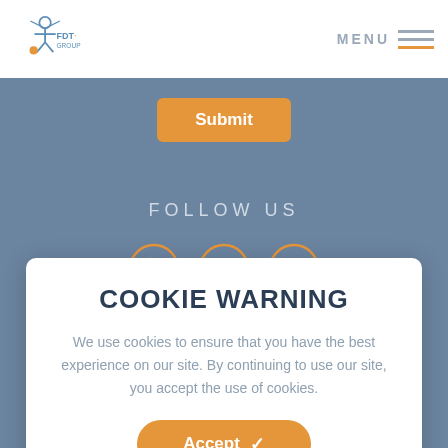[Figure (logo): FDT Group logo with star/person icon in blue and orange]
MENU
[Figure (screenshot): Submit button on blue-grey background]
FOLLOW US
[Figure (infographic): Three social media icons in orange circles: Twitter, LinkedIn, YouTube/Play]
COOKIE WARNING
We use cookies to ensure that you have the best experience on our site. By continuing to use our site, you accept the use of cookies.
[Figure (screenshot): Accept button with checkmark]